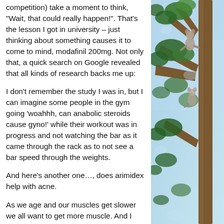competition) take a moment to think, "Wait, that could really happen!". That's the lesson I got in university – just thinking about something causes it to come to mind, modafinil 200mg. Not only that, a quick search on Google revealed that all kinds of research backs me up:
I don't remember the study I was in, but I can imagine some people in the gym going 'woahhh, can anabolic steroids cause gyno!' while their workout was in progress and not watching the bar as it came through the rack as to not see a bar speed through the weights.
And here's another one…, does arimidex help with acne.
As we age and our muscles get slower we all want to get more muscle. And I know you
[Figure (photo): Outdoor photo of tree branches with green foliage and a blue sky, with what appears to be an animal (possibly a koala or similar) climbing or resting in the tree.]